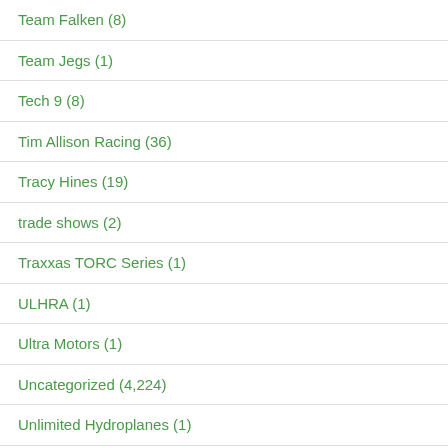Team Falken (8)
Team Jegs (1)
Tech 9 (8)
Tim Allison Racing (36)
Tracy Hines (19)
trade shows (2)
Traxxas TORC Series (1)
ULHRA (1)
Ultra Motors (1)
Uncategorized (4,224)
Unlimited Hydroplanes (1)
UNOH Dirtcar Nationals (5)
USAC (4)